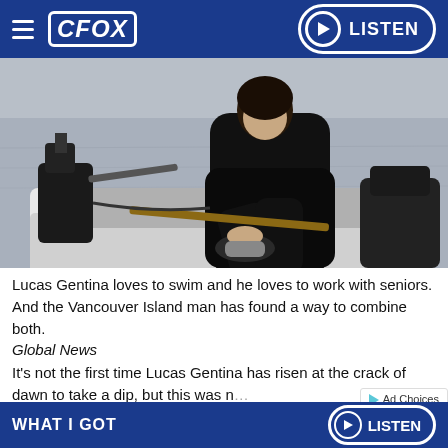CFOX  LISTEN
[Figure (photo): Man in black wetsuit sitting on edge of a small motorboat on calm grey water, adjusting his wetsuit boot. A black electric motor is visible on the left side of the boat.]
Lucas Gentina loves to swim and he loves to work with seniors. And the Vancouver Island man has found a way to combine both.
Global News
It's not the first time Lucas Gentina has risen at the crack of dawn to take a dip, but this was n...
WHAT I GOT  LISTEN